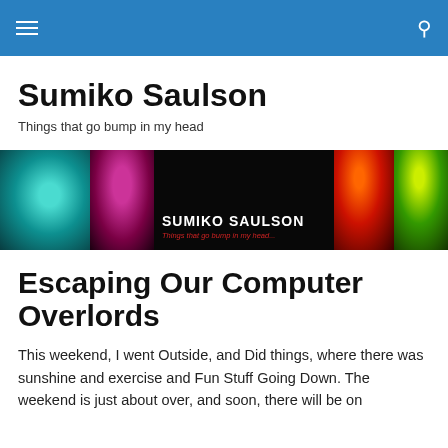≡  🔍
Sumiko Saulson
Things that go bump in my head
[Figure (illustration): Banner image for Sumiko Saulson blog showing horror-themed imagery: teal swirl, magenta orb, dark background with 'SUMIKO SAULSON / Things that go bump in my head...' text, red demon face, green zombie face, and 'HORROR NOVELIST' text on dark panels.]
Escaping Our Computer Overlords
This weekend, I went Outside, and Did things, where there was sunshine and exercise and Fun Stuff Going Down. The weekend is just about over, and soon, there will be on